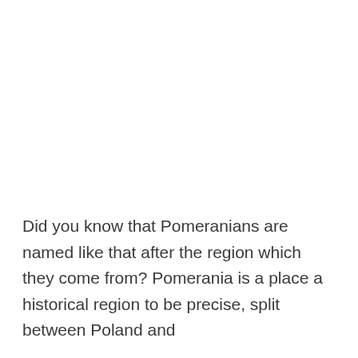Did you know that Pomeranians are named like that after the region which they come from? Pomerania is a place a historical region to be precise, split between Poland and